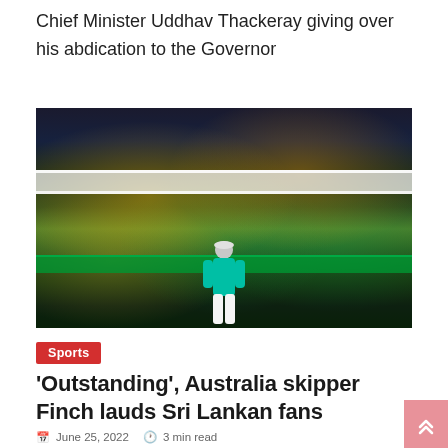Chief Minister Uddhav Thackeray giving over his abdication to the Governor
[Figure (photo): Cricket crowd cheering with a player in a teal/mint jersey facing the stands at night; fans in yellow and green colors celebrating]
Sports
'Outstanding', Australia skipper Finch lauds Sri Lankan fans
June 25, 2022  3 min read